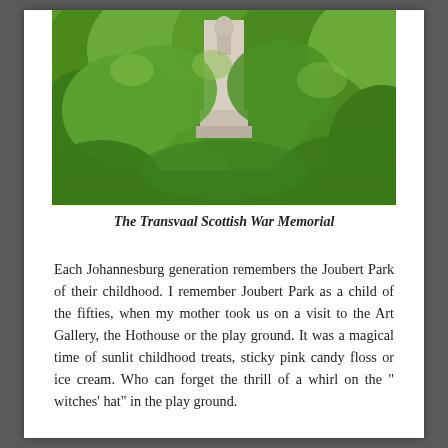[Figure (photo): Photograph of the Transvaal Scottish War Memorial, a stone monument/statue partially obscured by dense green trees and foliage.]
The Transvaal Scottish War Memorial
Each Johannesburg generation remembers the Joubert Park of their childhood. I remember Joubert Park as a child of the fifties, when my mother took us on a visit to the Art Gallery, the Hothouse or the play ground. It was a magical time of sunlit childhood treats, sticky pink candy floss or ice cream. Who can forget the thrill of a whirl on the " witches' hat" in the play ground.